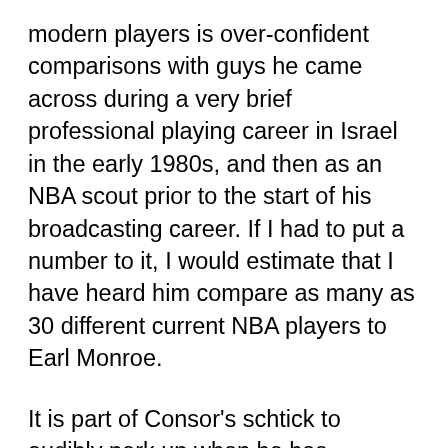modern players is over-confident comparisons with guys he came across during a very brief professional playing career in Israel in the early 1980s, and then as an NBA scout prior to the start of his broadcasting career. If I had to put a number to it, I would estimate that I have heard him compare as many as 30 different current NBA players to Earl Monroe.
It is part of Consor's schtick to audibly perk up when he has personal recollections of the fathers of active NBA players, but it turns out this can be a very unhelpful reflex when you're a big sloppy goof who slides by on charm and doesn't do his homework. "Kevin Porter Jr., like his dad, pulled that trigger right at the right time" would be a pointless but also harmless thing to say if Kevin Porter Jr. were, as